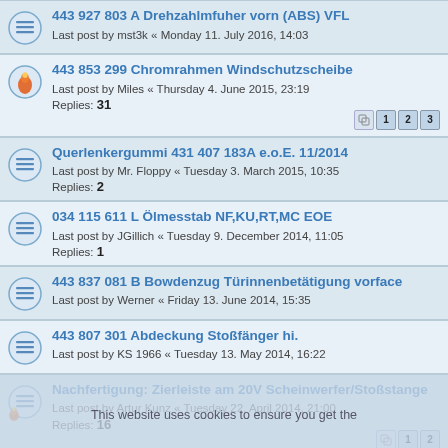443 927 803 A Drehzahlmfuher vorn (ABS) VFL
Last post by mst3k « Monday 11. July 2016, 14:03
443 853 299 Chromrahmen Windschutzscheibe
Last post by Miles « Thursday 4. June 2015, 23:19
Replies: 31
Querlenkergummi 431 407 183A e.o.E. 11/2014
Last post by Mr. Floppy « Tuesday 3. March 2015, 10:35
Replies: 2
034 115 611 L Ölmesstab NF,KU,RT,MC EOE
Last post by JGillich « Tuesday 9. December 2014, 11:05
Replies: 1
443 837 081 B Bowdenzug Türinnenbetätigung vorface
Last post by Werner « Friday 13. June 2014, 15:35
443 807 301 Abdeckung Stoßfänger hi.
Last post by KS 1966 « Tuesday 13. May 2014, 16:22
Nachfertigung: Zierleiste am 20V Scheinwerfer/Stoßstange
Last post by Artur Kunz « Tuesday 22. April 2014, 21:00
Replies: 16
443 199 381 Gummilager Motor
Last post by fourbee « Friday 10. January 2014, 13:22
447 941 625 / 447 941 626Seitenblenden Audi 200 TQ20V
Last post by 44Q1990 « Thursday 15. August 2013, 15:12
Replies: 10
Zierleisten für Seitenscheibe Avant
Last post by Helmut « Wednesday 31. July 2013, 11:32